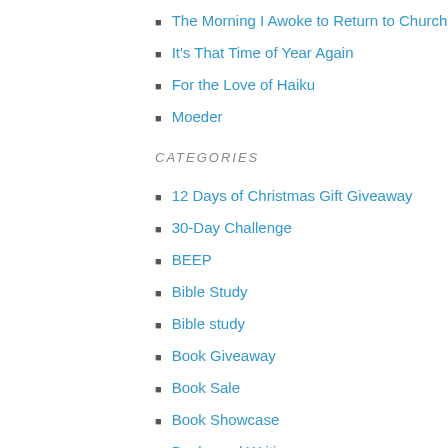The Morning I Awoke to Return to Church
It's That Time of Year Again
For the Love of Haiku
Moeder
CATEGORIES
12 Days of Christmas Gift Giveaway
30-Day Challenge
BEEP
Bible Study
Bible study
Book Giveaway
Book Sale
Book Showcase
Books and Writing
Eating Healthy
Encouraging Moms
Exercise
Fit Tip
Free Gift